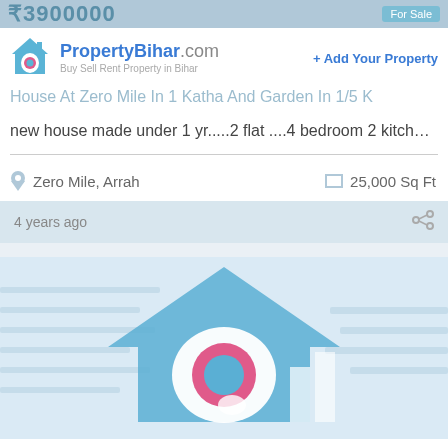₹3900000 — For Sale
[Figure (logo): PropertyBihar.com logo — house icon with 'b' inside, blue and pink, brand name PropertyBihar.com, tagline Buy Sell Rent Property in Bihar]
+ Add Your Property
House At Zero Mile In 1 Katha And Garden In 1/5 K
new house made under 1 yr.....2 flat ....4 bedroom 2 kitchen 2
Zero Mile, Arrah
25,000 Sq Ft
4 years ago
[Figure (logo): PropertyBihar.com large watermark logo — blue house icon with 'b' speech bubble, light blue background with horizontal stripe pattern]